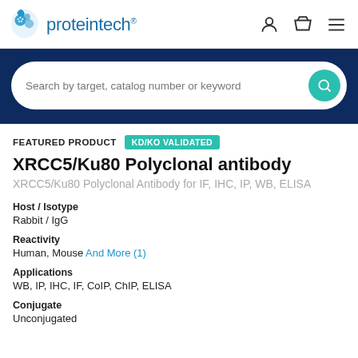[Figure (logo): Proteintech logo with blue droplet icon and blue text]
Search by target, catalog number or keyword
FEATURED PRODUCT   KD/KO VALIDATED
XRCC5/Ku80 Polyclonal antibody
XRCC5/Ku80 Polyclonal Antibody for IF, IHC, IP, WB, ELISA
Host / Isotype
Rabbit / IgG
Reactivity
Human, Mouse And More (1)
Applications
WB, IP, IHC, IF, CoIP, ChIP, ELISA
Conjugate
Unconjugated